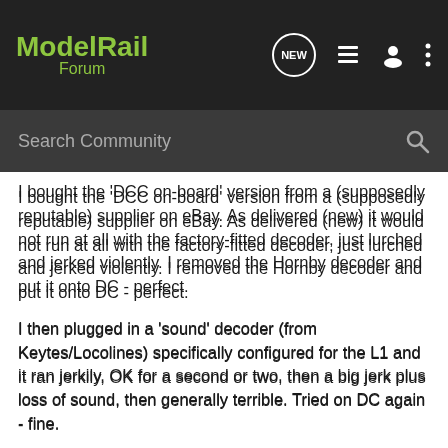Model Rail Forum
Search Community
I bought the 'DCC on-board' version from a (supposedly reputable) supplier on eBay. As delivered (new) it would not run at all with the factory-fitted decoder, just lurched and jerked violently. I removed the Hornby decoder and put it onto DC - perfect.
I then plugged in a 'sound' decoder (from Keytes/Locolines) specifically configured for the L1 and it ran jerkily, OK for a second or two, then a big jerk plus loss of sound, then generally terrible. Tried on DC again - fine.
Then the return crank came loose on one side and nothing I can do seems to fix it (which doesn't help). Thinking it was probably [redacted] twice). They said [redacted] lly